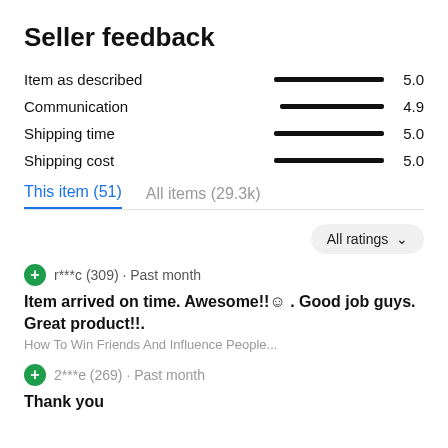Seller feedback
| Category | Bar | Score |
| --- | --- | --- |
| Item as described |  | 5.0 |
| Communication |  | 4.9 |
| Shipping time |  | 5.0 |
| Shipping cost |  | 5.0 |
This item (51)   All items (29.3k)
All ratings ∨
r***c (309) · Past month
Item arrived on time. Awesome!!☺ . Good job guys. Great product!!.
How To Win Friends And Influence People...
2***e (269) · Past month
Thank you